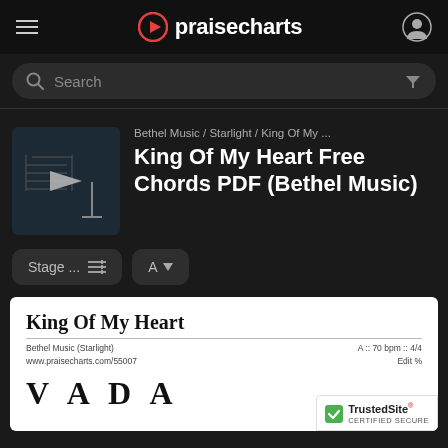praisecharts
Search
Bethel Music / Starlight / King Of My ...
King Of My Heart Free Chords PDF (Bethel Music)
Stage ...
A
King Of My Heart
Bethel Music (Starlight)
www.praisecharts.com/55007
A :: 70 bpm :: 4/4
Edit %
V   A   D   A
TrustedSite
CERTIFIED SECURE